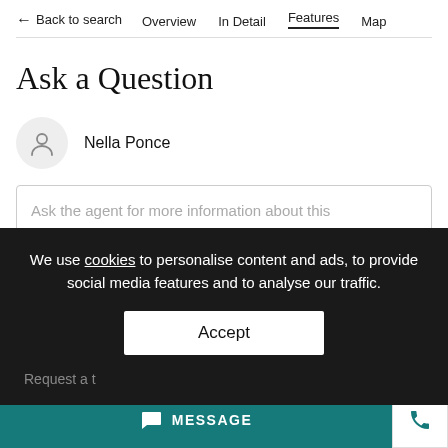← Back to search   Overview   In Detail   Features   Map
Ask a Question
Nella Ponce
Ask the agent for more information about this property
We use cookies to personalise content and ads, to provide social media features and to analyse our traffic.
Accept
Request a t...
MESSAGE